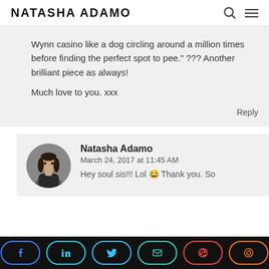NATASHA ADAMO
Wynn casino like a dog circling around a million times before finding the perfect spot to pee.” ??? Another brilliant piece as always!

Much love to you. xxx
Reply
Natasha Adamo
March 24, 2017 at 11:45 AM
Hey soul sis!!! Lol 😂 Thank you. So
[Figure (infographic): Social share bar with buttons: Facebook (blue), LinkedIn (cyan), Twitter (sky blue), Email (teal), Pinterest (red), Reddit (orange-red)]